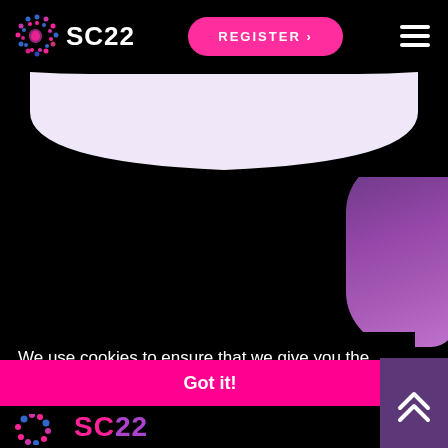[Figure (screenshot): SC22 conference website header with logo on left, pink REGISTER button in center, hamburger menu on right, all on black background]
[Figure (illustration): Large white bowl/arch shape on black background, decorative element of SC22 website]
We use cookies to ensure that we give you the best experience on our website.
Learn more
Got it!
[Figure (logo): SC22 logo fragments visible at bottom of page]